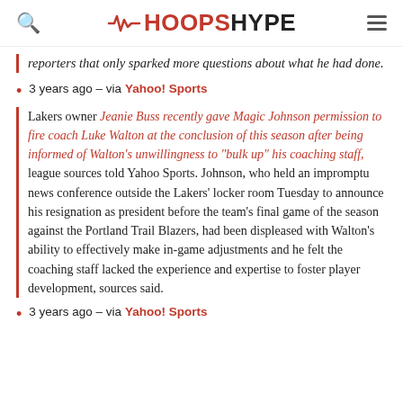HOOPSHYPE
reporters that only sparked more questions about what he had done.
3 years ago – via Yahoo! Sports
Lakers owner Jeanie Buss recently gave Magic Johnson permission to fire coach Luke Walton at the conclusion of this season after being informed of Walton's unwillingness to "bulk up" his coaching staff, league sources told Yahoo Sports. Johnson, who held an impromptu news conference outside the Lakers' locker room Tuesday to announce his resignation as president before the team's final game of the season against the Portland Trail Blazers, had been displeased with Walton's ability to effectively make in-game adjustments and he felt the coaching staff lacked the experience and expertise to foster player development, sources said.
3 years ago – via Yahoo! Sports